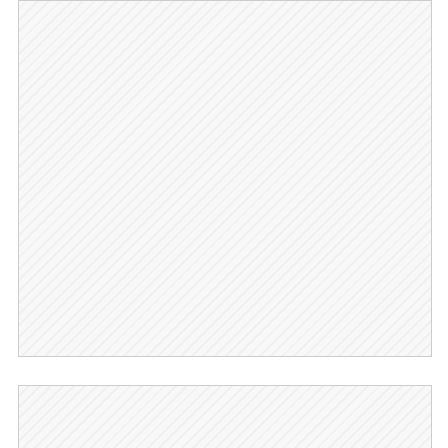[Figure (other): Large hatched/textured rectangle placeholder box at top of page]
[Figure (other): Smaller hatched/textured rectangle placeholder box at bottom of page with 'Full Print' label]
Full Print